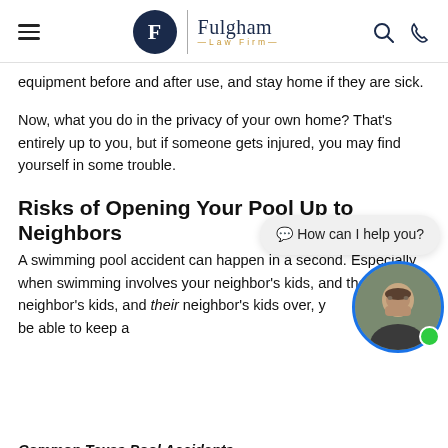Fulgham Law Firm
equipment before and after use, and stay home if they are sick.
Now, what you do in the privacy of your own home? That's entirely up to you, but if someone gets injured, you may find yourself in some trouble.
Risks of Opening Your Pool Up to Neighbors
A swimming pool accident can happen in a second. Especially when swimming involves your neighbor's kids, and their neighbor's kids, and their neighbor's kids over, you might not be able to keep an
Common Texas Pool Accidents
Common swimming pool injuries in Texas include: